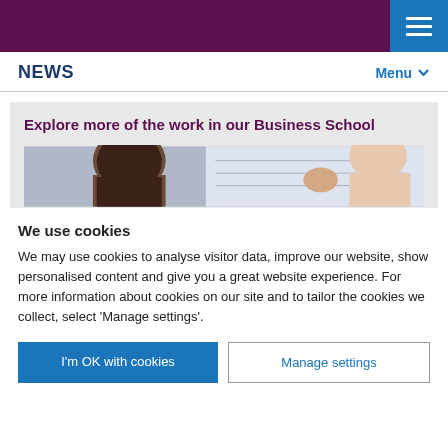NEWS  Menu
[Figure (photo): Banner promoting Business School with purple heading 'Explore more of the work in our Business School' and a photo of people including a close-up of a man's face]
We use cookies
We may use cookies to analyse visitor data, improve our website, show personalised content and give you a great website experience. For more information about cookies on our site and to tailor the cookies we collect, select 'Manage settings'.
I'm OK with cookies  |  Manage settings